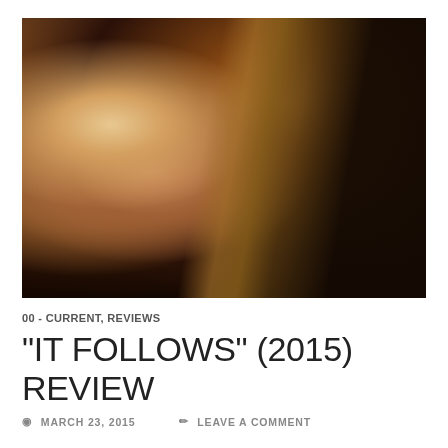[Figure (photo): Film still from 'It Follows' (2015) showing a blonde young woman lying on a car seat, leaning on her arm, wearing a pink top. A gold/tan car door frame is prominently visible. The image has warm, dark cinematic tones.]
00 - CURRENT, REVIEWS
"IT FOLLOWS" (2015) REVIEW
MARCH 23, 2015   LEAVE A COMMENT